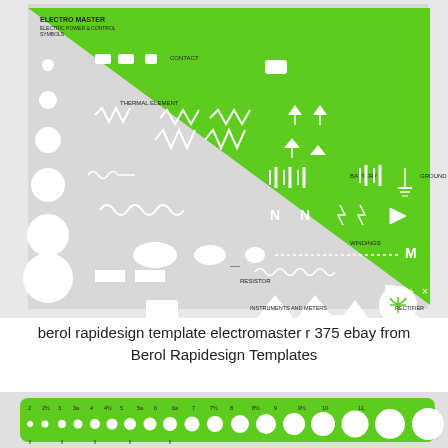[Figure (photo): Photo of a green triangular Berol Rapidesign Electro Master stencil template (R-375) showing electric power and control symbols including contacts, thermal elements, batteries, grounds, resistors, windings, instruments and meters, rectifiers, and various electronic schematic symbols cut out of bright green plastic.]
berol rapidesign template electromaster r 375 ebay from Berol Rapidesign Templates
[Figure (photo): Photo of a green rectangular Berol Rapidesign template strip showing a series of graduated circular holes of increasing sizes, numbered from 2 to 11, used for drawing circles of various diameters.]